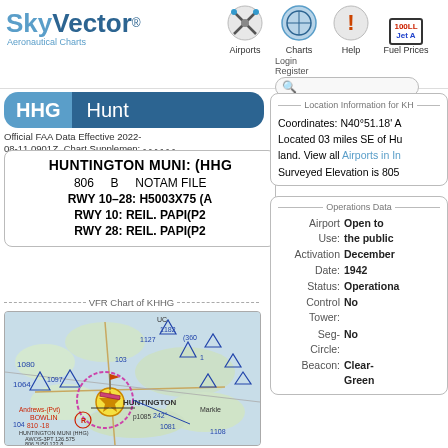SkyVector Aeronautical Charts — Airports | Charts | Help | Fuel Prices
HHG  Hunt
Official FAA Data Effective 2022-08-11 0901Z  Chart Supplement:
HUNTINGTON MUNI: (HHG)
806  B  NOTAM FILE
RWY 10–28: H5003X75 (A
RWY 10: REIL. PAPI(P2
RWY 28: REIL. PAPI(P2
VFR Chart of KHHG
[Figure (map): VFR aeronautical chart excerpt showing Huntington area with HUNTINGTON MUNI (HHG) airport, surrounding terrain, roads, and navigation data including AWOS-3PT 126.575, 806 150 122.8]
Location Information for KH
Coordinates: N40°51.18' /
Located 03 miles SE of Hu
land. View all Airports in In
Surveyed Elevation is 805
Operations Data
Airport Use: Open to the public
Activation Date: December 1942
Status: Operational
Control Tower: No
Seg-Circle: No
Beacon: Clear-Green